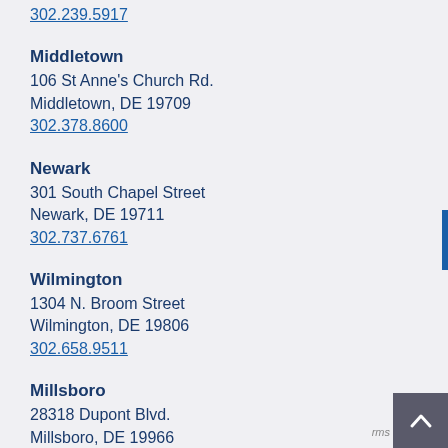302.239.5917
Middletown
106 St Anne's Church Rd.
Middletown, DE 19709
302.378.8600
Newark
301 South Chapel Street
Newark, DE 19711
302.737.6761
Wilmington
1304 N. Broom Street
Wilmington, DE 19806
302.658.9511
Millsboro
28318 Dupont Blvd.
Millsboro, DE 19966
302.934.8005
Pediatric